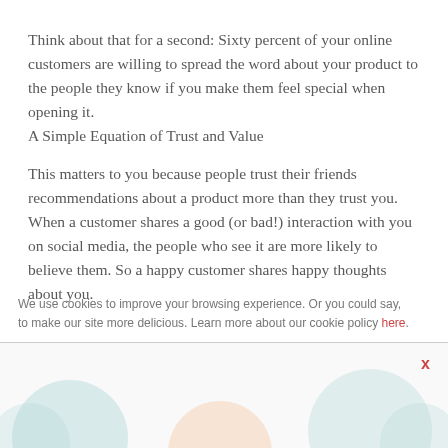Think about that for a second: Sixty percent of your online customers are willing to spread the word about your product to the people they know if you make them feel special when opening it.
A Simple Equation of Trust and Value
This matters to you because people trust their friends recommendations about a product more than they trust you. When a customer shares a good (or bad!) interaction with you on social media, the people who see it are more likely to believe them. So a happy customer shares happy thoughts about you.
We use cookies to improve your browsing experience. Or you could say, to make our site more delicious. Learn more about our cookie policy here.